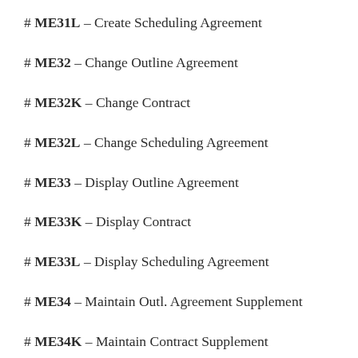# ME31L – Create Scheduling Agreement
# ME32 – Change Outline Agreement
# ME32K – Change Contract
# ME32L – Change Scheduling Agreement
# ME33 – Display Outline Agreement
# ME33K – Display Contract
# ME33L – Display Scheduling Agreement
# ME34 – Maintain Outl. Agreement Supplement
# ME34K – Maintain Contract Supplement